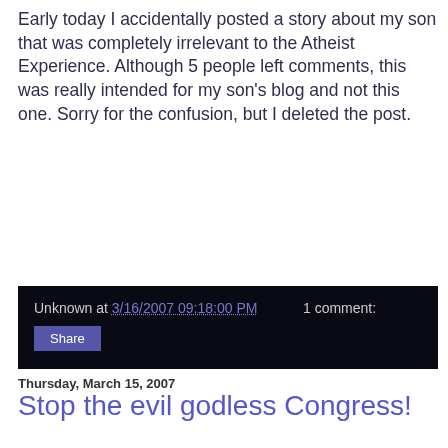Early today I accidentally posted a story about my son that was completely irrelevant to the Atheist Experience. Although 5 people left comments, this was really intended for my son's blog and not this one. Sorry for the confusion, but I deleted the post.
Unknown at 3/16/2007 09:18:00 PM    1 comment:
Share
Thursday, March 15, 2007
Stop the evil godless Congress!
On Monday, the Secular Coalition announced that Rep. Pete Stark (D. Calif.) is, according to their research, the first open nontheist in the history of Congress. This announcement came as the result of a the Secular Coalition's "Find an Atheist, Humanist, Freethinker Elected Official" contest.
Wasting very little time, the Christian Seniors Association(a